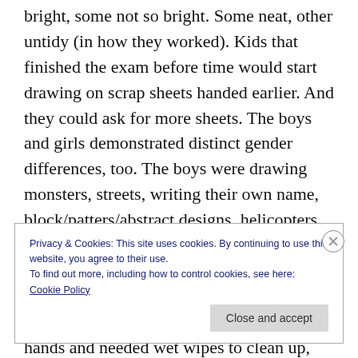bright, some not so bright. Some neat, other untidy (in how they worked). Kids that finished the exam before time would start drawing on scrap sheets handed earlier. And they could ask for more sheets. The boys and girls demonstrated distinct gender differences, too. The boys were drawing monsters, streets, writing their own name, block/patters/abstract designs, helicopters, shoes, aliens, excavators, and robotic faces. The girls drew flowers, superheroes (female), and decorative patterns. Some of the boys had pencil graphite all over their hands and needed wet wipes to clean up, some wanted to talk, and
Privacy & Cookies: This site uses cookies. By continuing to use this website, you agree to their use.
To find out more, including how to control cookies, see here: Cookie Policy